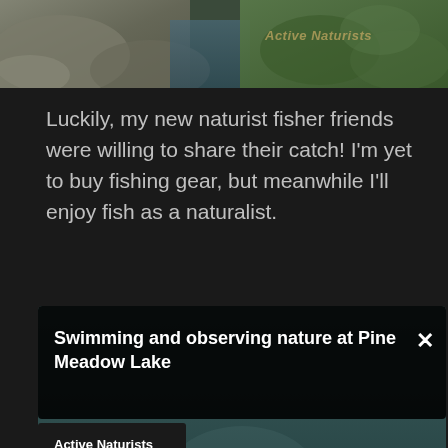[Figure (photo): Outdoor nature photo showing rocks and green vegetation, with watermark 'Active Naturists' in top right]
Luckily, my new naturist fisher friends were willing to share their catch! I'm yet to buy fishing gear, but meanwhile I'll enjoy fish as a naturalist.
[Figure (screenshot): Embedded video player showing error state with overlay title 'Swimming and observing nature at Pine Meadow Lake', channel button 'Active Naturists', close button X, and player error message: 'Player error - The player is having trouble. We'll have it back up and running as soon as possible.']
Most of the fish that you see in the video are sunfish species, and what I like about them is that they are quite